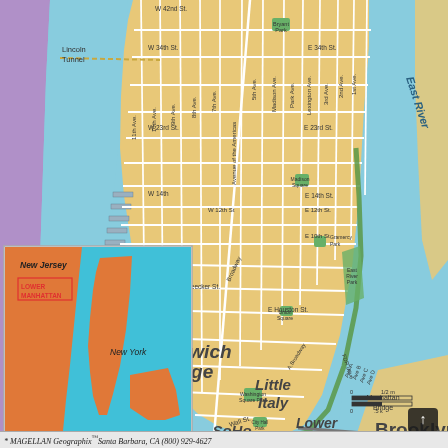[Figure (map): Street map of lower Manhattan, New York City, showing neighborhoods including Greenwich Village, SoHo, Little Italy, Chinatown, Lower East Side, and streets/avenues. Hudson River on the west, East River on the east. Inset map in lower left showing New Jersey and New York context. Scale bar and Brooklyn label visible at bottom right. Text labels include: Lincoln Tunnel, W 42nd St, W 34th St, W 23rd St, W 14th, W 12th St, E 34th St, E 23rd St, E 14th St, E 12th St, E 10th St, Bleecker St, W Houston St, E Houston St, Spring St, Canal St, Wall St, FDR Drive, Manhattan Bridge, East River, Hudson River, Holland Tunnel, Bryant Park, Madison Square, Gramercy Park, Union Square, Washington Square Park, Avenue of the Americas, 5th Ave, 7th Ave, 8th Ave, 9th Ave, 10th Ave, 11th Ave, Madison Ave, Park Ave, Lexington Ave, 3rd Ave, 2nd Ave, 1st Ave, Broadway.]
* MAGELLAN Geographix™Santa Barbara, CA (800) 929-4627